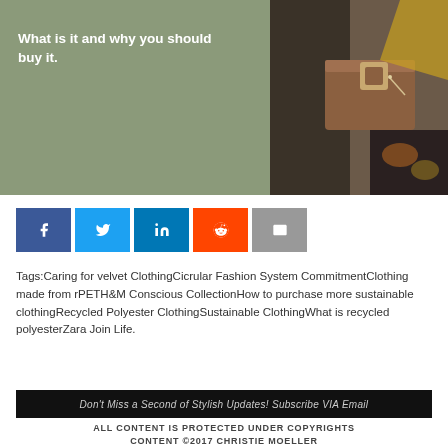[Figure (photo): Hero image split: left side olive/sage green background with bold white subtitle text 'What is it and why you should buy it.'; right side photo of clothing/belt details in warm brown tones]
What is it and why you should buy it.
[Figure (infographic): Row of five social share buttons: Facebook (blue, f icon), Twitter (light blue, bird icon), LinkedIn (dark blue, in icon), Reddit (orange, alien icon), Email (grey, envelope icon)]
Tags:Caring for velvet ClothingCicrular Fashion System CommitmentClothing made from rPETH&M Conscious CollectionHow to purchase more sustainable clothingRecycled Polyester ClothingSustainable ClothingWhat is recycled polyesterZara Join Life.
Don't Miss a Second of Stylish Updates! Subscribe VIA Email
ALL CONTENT IS PROTECTED UNDER COPYRIGHTS CONTENT ©2017 CHRISTIE MOELLER